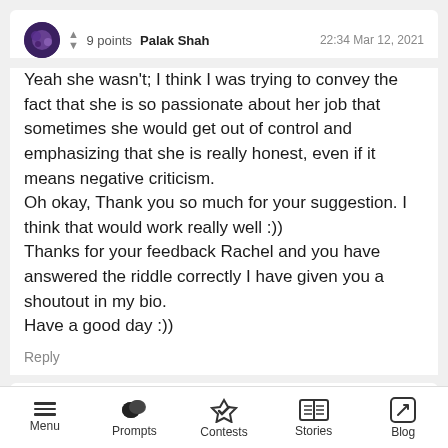▲ ▼ 9 points  Palak Shah  22:34 Mar 12, 2021
Yeah she wasn't; I think I was trying to convey the fact that she is so passionate about her job that sometimes she would get out of control and emphasizing that she is really honest, even if it means negative criticism.
Oh okay, Thank you so much for your suggestion. I think that would work really well :))
Thanks for your feedback Rachel and you have answered the riddle correctly I have given you a shoutout in my bio.
Have a good day :))
Reply
Menu  Prompts  Contests  Stories  Blog